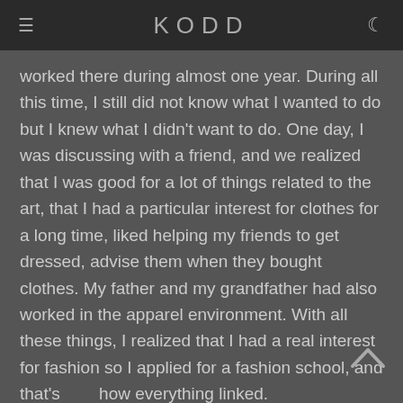KODD
worked there during almost one year. During all this time, I still did not know what I wanted to do but I knew what I didn't want to do. One day, I was discussing with a friend, and we realized that I was good for a lot of things related to the art, that I had a particular interest for clothes for a long time, liked helping my friends to get dressed, advise them when they bought clothes. My father and my grandfather had also worked in the apparel environment. With all these things, I realized that I had a real interest for fashion so I applied for a fashion school, and that's how everything linked.